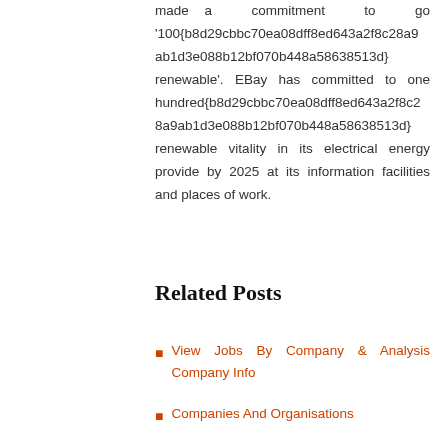made a commitment to go '100{b8d29cbbc70ea08dff8ed643a2f8c28a9ab1d3e088b12bf070b448a58638513d} renewable'. EBay has committed to one hundred{b8d29cbbc70ea08dff8ed643a2f8c28a9ab1d3e088b12bf070b448a58638513d} renewable vitality in its electrical energy provide by 2025 at its information facilities and places of work.
Related Posts
View Jobs By Company & Analysis Company Info
Companies And Organisations
50 Firms To Watch In 2019